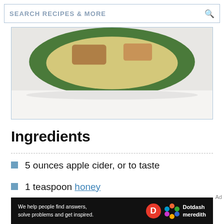SEARCH RECIPES & MORE
[Figure (photo): Partial photo of a decorative bowl with green and brown design, on white background, partially cropped]
Ingredients
5 ounces apple cider, or to taste
1 teaspoon honey
2 ounces whiskey or apple brandy
[Figure (infographic): Dotdash Meredith advertisement banner: 'We help people find answers, solve problems and get inspired.']